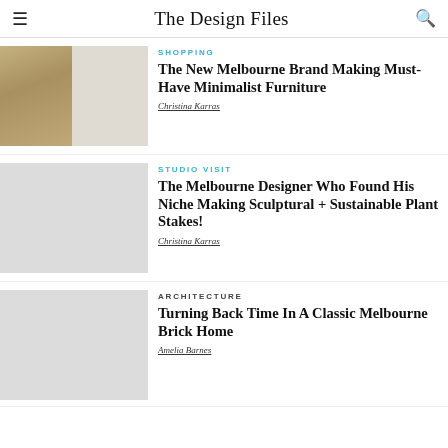The Design Files
SHOPPING
The New Melbourne Brand Making Must-Have Minimalist Furniture
Christina Karras
STUDIO VISIT
The Melbourne Designer Who Found His Niche Making Sculptural + Sustainable Plant Stakes!
Christina Karras
ARCHITECTURE
Turning Back Time In A Classic Melbourne Brick Home
Amelia Barnes